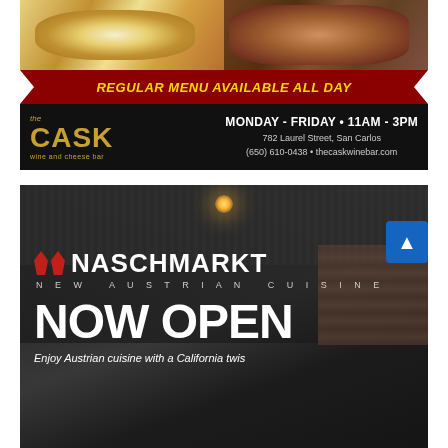[Figure (photo): Advertisement for The Cask wine and cheese bar. Top portion shows food photos (skewers and burgers). Red ribbon banner reads 'REGULAR MENU AVAILABLE ALL DAY'. Black bar shows the Cask logo in gold, with hours Monday-Friday 11AM-3PM, address 782 Laurel Street San Carlos, phone (650) 610-0438, website thecaskwinebar.com.]
[Figure (photo): Advertisement for Naschmarkt restaurant showing interior bar/dining area. Logo with red graphic marks and NASCHMARKT in large white text. Tagline: NEW AUSTRIAN CUISINE. Large text: NOW OPEN. Bottom text: Enjoy Austrian cuisine with a California twist.]